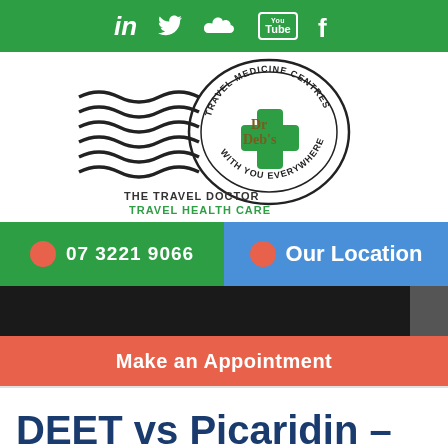Social media icons: LinkedIn, Twitter, SoundCloud, YouTube, Facebook
[Figure (logo): Dr Deb's Travel Medicine Centres logo — stamp design with wavy lines and green medical cross, text: THE TRAVEL DOCTOR TRAVEL HEALTH CARE]
07 3221 9066
Our Location
Make an Appointment
DEET vs Picaridin –